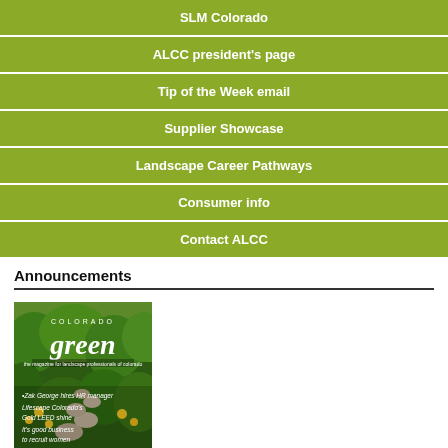SLM Colorado
ALCC president's page
Tip of the Week email
Supplier Showcase
Landscape Career Pathways
Consumer info
Contact ALCC
Announcements
[Figure (photo): Cover of Colorado Green magazine showing a garden path with lush greenery and flowers. Text on cover reads: COLORADO green, Zak George hires HR manager, Lifescape Colorado's Gold LEED shine, It's good business to recruit women]